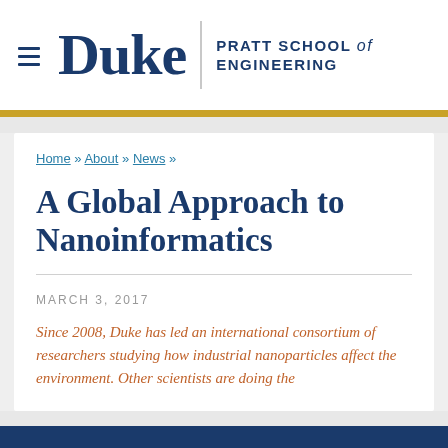Duke | PRATT SCHOOL of ENGINEERING
Home » About » News »
A Global Approach to Nanoinformatics
MARCH 3, 2017
Since 2008, Duke has led an international consortium of researchers studying how industrial nanoparticles affect the environment. Other scientists are doing the